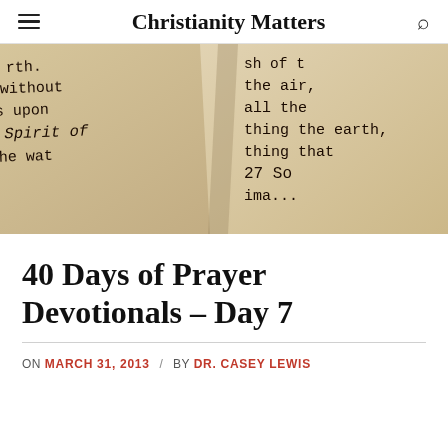Christianity Matters
[Figure (photo): Close-up photograph of open Bible pages showing text including 'without', 'was upon', 'Spirit of', 'the wat...', 'of the air', 'all the earth', 'thing that', '27 So', 'ima...']
40 Days of Prayer Devotionals – Day 7
ON MARCH 31, 2013 / BY DR. CASEY LEWIS